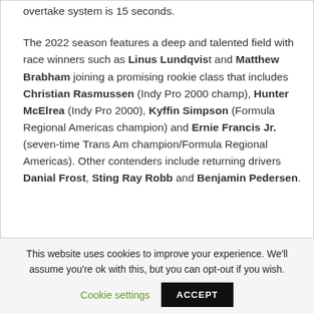overtake system is 15 seconds.
The 2022 season features a deep and talented field with race winners such as Linus Lundqvist and Matthew Brabham joining a promising rookie class that includes Christian Rasmussen (Indy Pro 2000 champ), Hunter McElrea (Indy Pro 2000), Kyffin Simpson (Formula Regional Americas champion) and Ernie Francis Jr. (seven-time Trans Am champion/Formula Regional Americas). Other contenders include returning drivers Danial Frost, Sting Ray Robb and Benjamin Pedersen.
This website uses cookies to improve your experience. We'll assume you're ok with this, but you can opt-out if you wish.